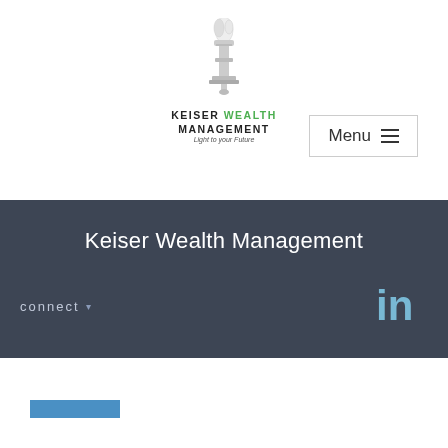[Figure (logo): Keiser Wealth Management logo with torch emblem, text reads KEISER WEALTH MANAGEMENT, Light to your Future]
Menu ≡
Keiser Wealth Management
connect ▾
[Figure (logo): LinkedIn icon in light blue]